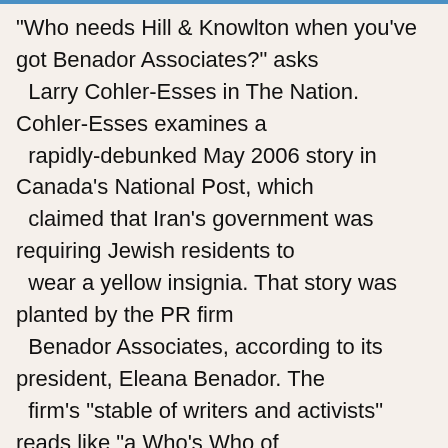"Who needs Hill & Knowlton when you've got Benador Associates?" asks Larry Cohler-Esses in The Nation. Cohler-Esses examines a rapidly-debunked May 2006 story in Canada's National Post, which claimed that Iran's government was requiring Jewish residents to wear a yellow insignia. That story was planted by the PR firm Benador Associates, according to its president, Eleana Benador. The firm's "stable of writers and activists" reads like "a Who's Who of the neocon movement," including Richard Perle, Michael Ledeen, Frank Gaffney and Amir Taheri, an Iranian exile who wrote the false story. Cohler-Esses notes that Taheri's 1989 book, Nest of Spies...